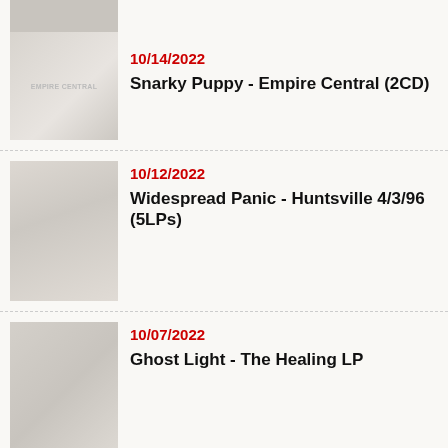[Figure (photo): Album art thumbnail for Snarky Puppy - Empire Central (2CD), partially visible at top]
10/14/2022
Snarky Puppy - Empire Central (2CD)
[Figure (photo): Album art thumbnail for Widespread Panic - Huntsville 4/3/96 (5LPs)]
10/12/2022
Widespread Panic - Huntsville 4/3/96 (5LPs)
[Figure (photo): Album art thumbnail for Ghost Light - The Healing LP]
10/07/2022
Ghost Light - The Healing LP
[Figure (infographic): Social media icons: Facebook, Twitter, RSS feed, Email]